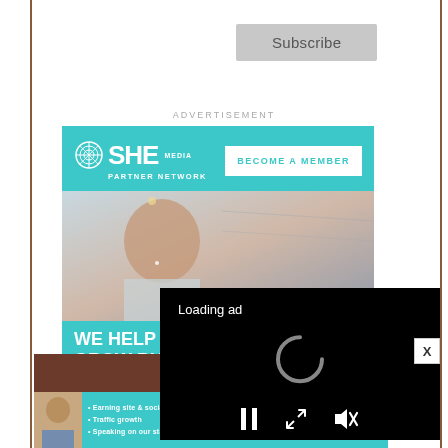[Figure (screenshot): Subscribe button - gray rounded rectangle with 'Subscribe' text]
ADVERTISEMENT
[Figure (screenshot): SHE Media Partner Network advertisement banner with teal background, logo, 'BECOME A MEMBER' button, woman photo, 'WE HELP GROW BU...' text]
[Figure (screenshot): Video player overlay with black background, 'Loading ad' text, spinner icon, and playback controls (pause, fullscreen, mute)]
Popular Posts
[Figure (screenshot): SHE Media Partner Network bottom banner ad with bullet points: Earning site & social revenue, Traffic growth, Speaking on our stages, with LEARN MORE button]